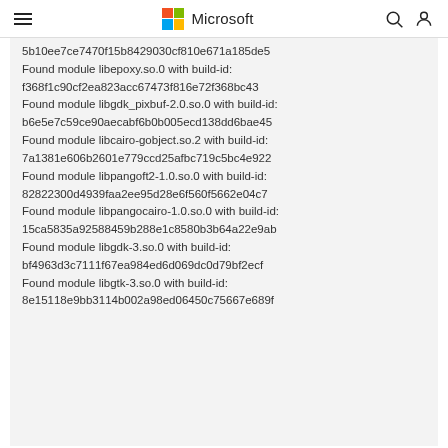Microsoft
5b10ee7ce7470f15b8429030cf810e671a185de5
Found module libepoxy.so.0 with build-id:
f368f1c90cf2ea823acc67473f816e72f368bc43
Found module libgdk_pixbuf-2.0.so.0 with build-id:
b6e5e7c59ce90aecabf6b0b005ecd138dd6bae45
Found module libcairo-gobject.so.2 with build-id:
7a1381e606b2601e779ccd25afbc719c5bc4e922
Found module libpangoft2-1.0.so.0 with build-id:
82822300d4939faa2ee95d28e6f560f5662e04c7
Found module libpangocairo-1.0.so.0 with build-id:
15ca5835a92588459b288e1c8580b3b64a22e9ab
Found module libgdk-3.so.0 with build-id:
bf4963d3c7111f67ea984ed6d069dc0d79bf2ecf
Found module libgtk-3.so.0 with build-id:
8e15118e9bb3114b002a98ed06450c75667e689f